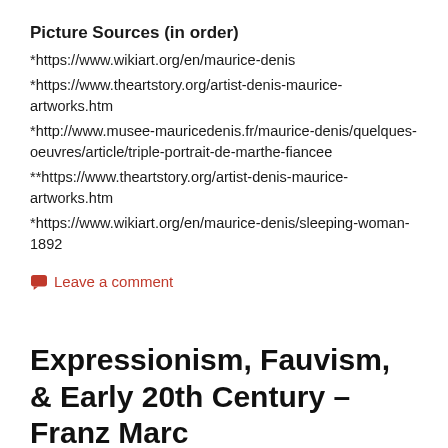Picture Sources (in order)
*https://www.wikiart.org/en/maurice-denis
*https://www.theartstory.org/artist-denis-maurice-artworks.htm
*http://www.musee-mauricedenis.fr/maurice-denis/quelques-oeuvres/article/triple-portrait-de-marthe-fiancee
**https://www.theartstory.org/artist-denis-maurice-artworks.htm
*https://www.wikiart.org/en/maurice-denis/sleeping-woman-1892
Leave a comment
Expressionism, Fauvism, & Early 20th Century – Franz Marc